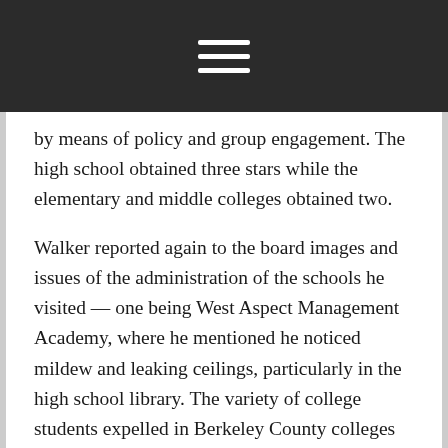[Navigation menu icon]
by means of policy and group engagement. The high school obtained three stars while the elementary and middle colleges obtained two.
Walker reported again to the board images and issues of the administration of the schools he visited — one being West Aspect Management Academy, where he mentioned he noticed mildew and leaking ceilings, particularly in the high school library. The variety of college students expelled in Berkeley County colleges totaled one hundred fifty, and seventy seven incidents of